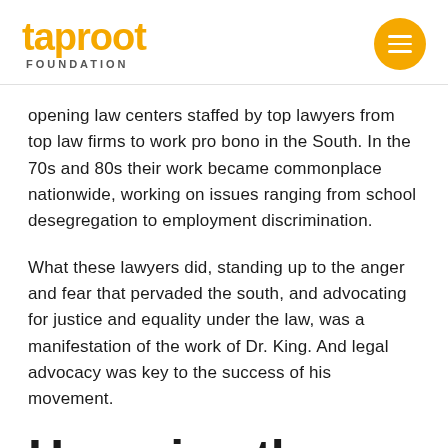taproot FOUNDATION
opening law centers staffed by top lawyers from top law firms to work pro bono in the South. In the 70s and 80s their work became commonplace nationwide, working on issues ranging from school desegregation to employment discrimination.
What these lawyers did, standing up to the anger and fear that pervaded the south, and advocating for justice and equality under the law, was a manifestation of the work of Dr. King. And legal advocacy was key to the success of his movement.
Honoring the history of